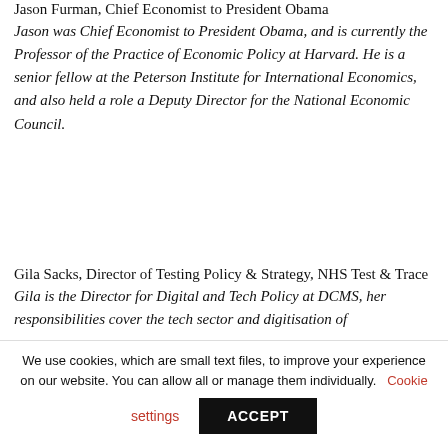Jason Furman, Chief Economist to President Obama
Jason was Chief Economist to President Obama, and is currently the Professor of the Practice of Economic Policy at Harvard. He is a senior fellow at the Peterson Institute for International Economics, and also held a role a Deputy Director for the National Economic Council.
Gila Sacks, Director of Testing Policy & Strategy, NHS Test & Trace
Gila is the Director for Digital and Tech Policy at DCMS, her responsibilities cover the tech sector and digitisation of
We use cookies, which are small text files, to improve your experience on our website. You can allow all or manage them individually. Cookie settings ACCEPT